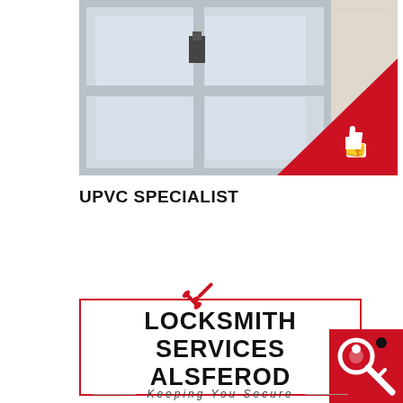[Figure (photo): Photo of a UPVC window frame with a lock visible, with a red triangle badge in the bottom-right corner containing a white thumbs-up icon]
UPVC SPECIALIST
[Figure (illustration): Red crossed wrench and screwdriver tools icon above a red-bordered box]
LOCKSMITH SERVICES ALSFEROD
Keeping You Secure
[Figure (logo): Red square with a key/locksmith silhouette icon in bottom-right corner]